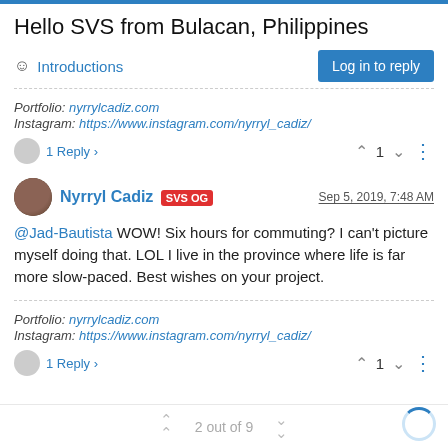Hello SVS from Bulacan, Philippines
Introductions
Portfolio: nyrrylcadiz.com
Instagram: https://www.instagram.com/nyrryl_cadiz/
1 Reply  ↑ 1 ↓
Nyrryl Cadiz SVS OG  Sep 5, 2019, 7:48 AM
@Jad-Bautista WOW! Six hours for commuting? I can't picture myself doing that. LOL I live in the province where life is far more slow-paced. Best wishes on your project.
Portfolio: nyrrylcadiz.com
Instagram: https://www.instagram.com/nyrryl_cadiz/
1 Reply  ↑ 1 ↓
2 out of 9